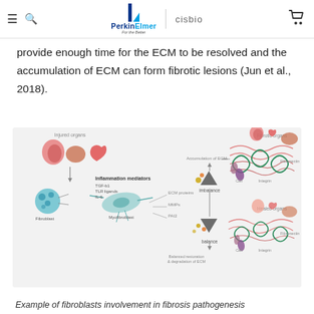PerkinElmer | cisbio
provide enough time for the ECM to be resolved and the accumulation of ECM can form fibrotic lesions (Jun et al., 2018).
[Figure (illustration): Diagram showing fibroblasts involvement in fibrosis pathogenesis. Shows injured organs (lungs, liver, heart) on the left leading to fibroblast and myofibroblast activation with inflammation mediators (TGF-b1, TLR ligands, IL-6), ECM proteins and MMPs balance/imbalance, with two outcomes: imbalance leading to ECM accumulation and fibrotic organs (top right), and balance leading to balanced restoration and degradation of ECM with healed organs (bottom right). Depicts fibronectin, cells, and integrins in ECM structure.]
Example of fibroblasts involvement in fibrosis pathogenesis